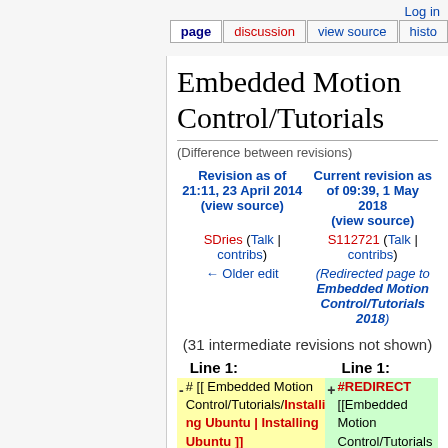Log in
page | discussion | view source | history
Embedded Motion Control/Tutorials
(Difference between revisions)
| Revision as of 21:11, 23 April 2014 (view source) | Current revision as of 09:39, 1 May 2018 (view source) |
| --- | --- |
| SDries (Talk | contribs) | S112721 (Talk | contribs) |
| ← Older edit | (Redirected page to Embedded Motion Control/Tutorials 2018) |
(31 intermediate revisions not shown)
| Line 1: | Line 1: |
| --- | --- |
| # [[ Embedded Motion Control/Tutorials/Installing Ubuntu | Installing Ubuntu ]] | #REDIRECT [[Embedded Motion Control/Tutorials 2018]] |